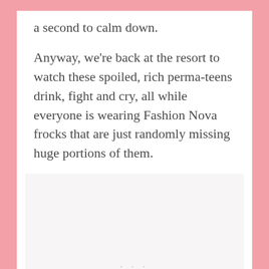a second to calm down.
Anyway, we're back at the resort to watch these spoiled, rich perma-teens drink, fight and cry, all while everyone is wearing Fashion Nova frocks that are just randomly missing huge portions of them.
[Figure (other): Empty light gray image placeholder area with three small dots centered at the bottom]